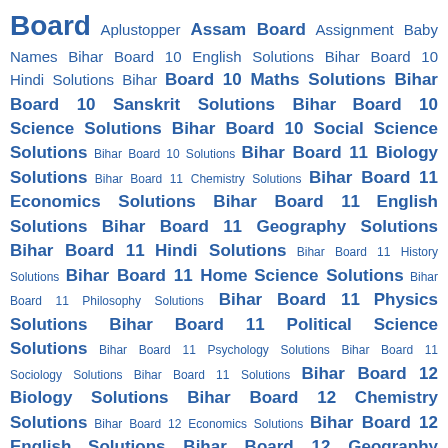Board Aplustopper Assam Board Assignment Baby Names Bihar Board 10 English Solutions Bihar Board 10 Hindi Solutions Bihar Board 10 Maths Solutions Bihar Board 10 Sanskrit Solutions Bihar Board 10 Science Solutions Bihar Board 10 Social Science Solutions Bihar Board 10 Solutions Bihar Board 11 Biology Solutions Bihar Board 11 Chemistry Solutions Bihar Board 11 Economics Solutions Bihar Board 11 English Solutions Bihar Board 11 Geography Solutions Bihar Board 11 Hindi Solutions Bihar Board 11 History Solutions Bihar Board 11 Home Science Solutions Bihar Board 11 Philosophy Solutions Bihar Board 11 Physics Solutions Bihar Board 11 Political Science Solutions Bihar Board 11 Psychology Solutions Bihar Board 11 Sociology Solutions Bihar Board 11 Solutions Bihar Board 12 Biology Solutions Bihar Board 12 Chemistry Solutions Bihar Board 12 Economics Solutions Bihar Board 12 English Solutions Bihar Board 12 Geography Solutions Bihar Board 12 Hindi Solutions Bihar Board 12 History Solutions Bihar Board 12 Physics Solutions Bihar Board 12 Political Science Solutions Bihar Board 12 Psychology Solutions Bihar Board 12 Solutions Bihar Board 6 English Solutions Bihar Board 6 Hindi Solutions Bihar Board 6 Maths Solutions Bihar Board 6 Sanskrit Solutions Bihar Board 6 Science Solutions Bihar Board 6 Social Science Solutions Bihar Board 6 Solutions Bihar Board 7 English Solutions Bihar Board 7 Hindi Solutions Bihar Board 7 Maths Solutions Bihar Board 7 Sanskrit Solutions Bihar Board 7 Science Solutions Bihar Board 7 Social Science Solutions Bihar Board 7 Solutions